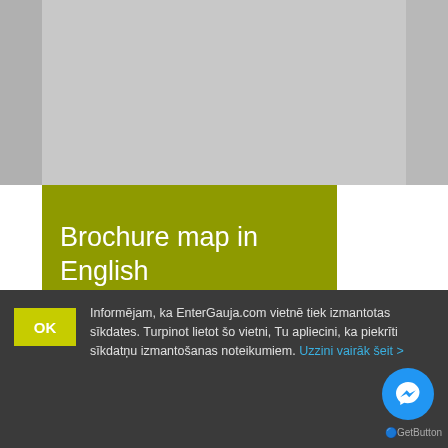[Figure (map): Grey placeholder map area showing EnterGauja map background]
Brochure map in English
Brochure map with all objects of EnterGauja in English
Informējam, ka EnterGauja.com vietnē tiek izmantotas sīkdates. Turpinot lietot šo vietni, Tu apliecini, ka piekrīti sīkdatņu izmantošanas noteikumiem. Uzzini vairāk šeit >